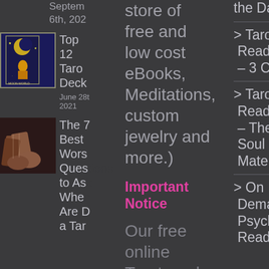Septem 6th, 202
[Figure (illustration): Tarot deck book cover with moon and mystical figure on dark blue background]
Top 12 Tarot Deck
June 28th, 2021
[Figure (photo): Hands holding tarot cards being read]
The 7 Best Worst Questions to Ask When Are D a Tar
store of free and low cost eBooks, Meditations, custom jewelry and more.)
Important Notice
Our free online Tarot card
the Day
> Tarot Reading – 3 Card
> Tarot Reading – The Soul Mate
> On Demand Psychic Readings